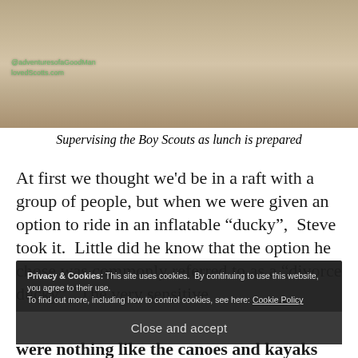[Figure (photo): Close-up photo of sandy ground with a person's feet/legs visible at top, shadow cast on sand. Green watermark text overlay visible.]
Supervising the Boy Scouts as lunch is prepared
At first we thought we'd be in a raft with a group of people, but when we were given an option to ride in an inflatable “ducky”,  Steve took it.  Little did he know that the option he chose was commonly referred to as a “divorce ducky”.  The very sensitive
Privacy & Cookies: This site uses cookies.  By continuing to use this website, you agree to their use.
To find out more, including how to control cookies, see here: Cookie Policy
Close and accept
were nothing like the canoes and kayaks we’ve used